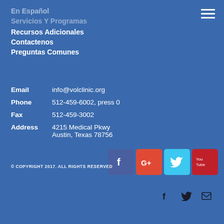En Español
Servicios Y Programas
Recursos Adicionales
Contactenos
Preguntas Comunes
Email   info@volclinic.org
Phone   512-459-6002, press 0
Fax     512-459-3002
Address 4215 Medical Pkwy
        Austin, Texas 78756
© COPYRIGHT 2017. ALL RIGHTS RESERVED
[Figure (infographic): Social media icons: Facebook (blue-gray), Google+ (red), Twitter (cyan), YouTube (dark red), plus smaller dark Facebook, Twitter, and email icons below]